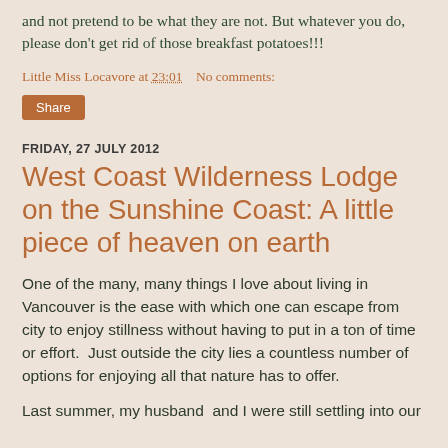and not pretend to be what they are not. But whatever you do, please don't get rid of those breakfast potatoes!!!
Little Miss Locavore at 23:01   No comments:
Share
FRIDAY, 27 JULY 2012
West Coast Wilderness Lodge on the Sunshine Coast: A little piece of heaven on earth
One of the many, many things I love about living in Vancouver is the ease with which one can escape from city to enjoy stillness without having to put in a ton of time or effort.  Just outside the city lies a countless number of options for enjoying all that nature has to offer.
Last summer, my husband  and I were still settling into our